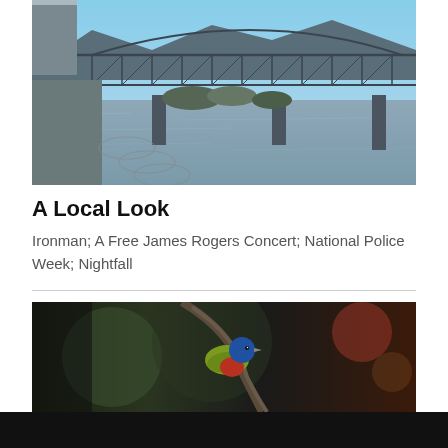[Figure (photo): Outdoor photo of a steel truss bridge over a wide river with mountains in the background on a clear sunny day. Left side shows a parking area or road with vehicles. Camera lens circles visible at bottom left.]
A Local Look
Ironman; A Free James Rogers Concert; National Police Week; Nightfall
[Figure (photo): Dark nature photo featuring a painted bunting bird (blue head, colorful body) perched on a branch, with blurred green and dark background.]